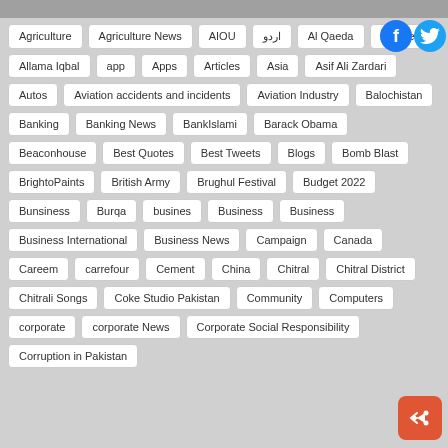Agriculture
Agriculture News
AIOU
اردو
Al Qaeda
Al-Qaeda
Allama Iqbal
app
Apps
Articles
Asia
Asif Ali Zardari
Autos
Aviation accidents and incidents
Aviation Industry
Balochistan
Banking
Banking News
BankIslami
Barack Obama
Beaconhouse
Best Quotes
Best Tweets
Blogs
Bomb Blast
BrightoPaints
British Army
Brughul Festival
Budget 2022
Bunsiness
Burqa
busines
Business
Business
Business International
Business News
Campaign
Canada
Careem
carrefour
Cement
China
Chitral
Chitral District
Chitrali Songs
Coke Studio Pakistan
Community
Computers
corporate
corporate News
Corporate Social Responsibility
Corruption in Pakistan